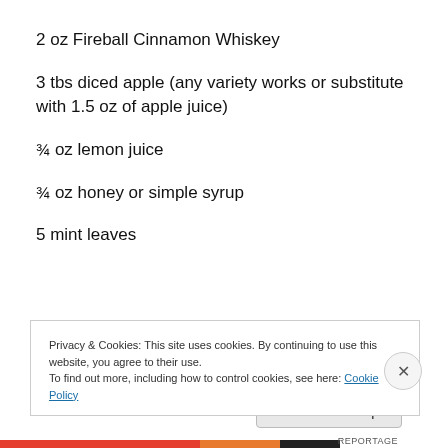2 oz Fireball Cinnamon Whiskey
3 tbs diced apple (any variety works or substitute with 1.5 oz of apple juice)
¾ oz lemon juice
¾ oz honey or simple syrup
5 mint leaves
Privacy & Cookies: This site uses cookies. By continuing to use this website, you agree to their use. To find out more, including how to control cookies, see here: Cookie Policy
Close and accept